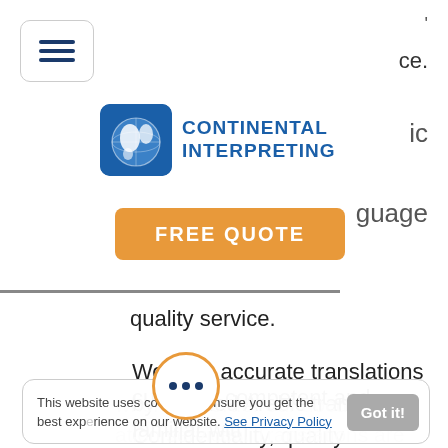[Figure (other): Hamburger menu button (three horizontal lines) in rounded rectangle]
[Figure (logo): Continental Interpreting logo with globe icon and blue text]
[Figure (other): Orange FREE QUOTE button]
quality service.
We offer accurate translations by certified Arabic translators. Confidentiality, quality assurance, and on-time delivery are always a priority when you order our document
ation services. Translations are leted by translators who are culturally competent and familiar with
This website uses cookies to ensure you get the best experience on our website. See Privacy Policy
[Figure (other): Orange-outlined circle with three dots (more options indicator)]